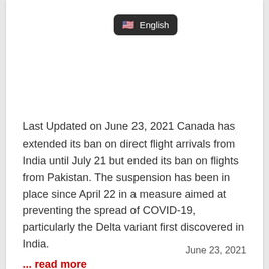[Figure (other): Language selector button showing US flag emoji and 'English' text on dark rounded rectangle background]
Last Updated on June 23, 2021 Canada has extended its ban on direct flight arrivals from India until July 21 but ended its ban on flights from Pakistan. The suspension has been in place since April 22 in a measure aimed at preventing the spread of COVID-19, particularly the Delta variant first discovered in India.
... read more
June 23, 2021